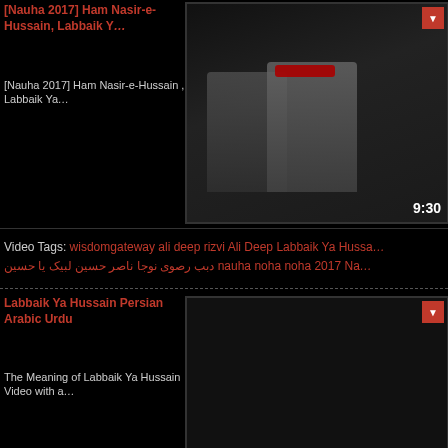[Figure (screenshot): Video thumbnail showing two men, one in red headband, duration 9:30, with red play button icon]
[Nauha 2017] Ham Nasir-e-Hussain, Labbaik Ya
[Nauha 2017] Ham Nasir-e-Hussain , Labbaik Ya
Video Tags: wisdomgateway ali deep rizvi Ali Deep Labbaik Ya Hussa... دبب رصوی نوجا ناصر حسین لبیک یا حسین nauha noha noha 2017 Na...
[Figure (screenshot): Dark video thumbnail with 4 star rating, duration 8:45, red play button icon]
Labbaik Ya Hussain Persian Arabic Urdu
The Meaning of Labbaik Ya Hussain Video with a...
Video Tags: Labbaik Ya Imam Hussain Speeches Zaki Baqri Jawwad...
[Figure (screenshot): Video thumbnail showing Arabic text and people, with red play button]
Hajj Presentation - Labbaik - Arabic